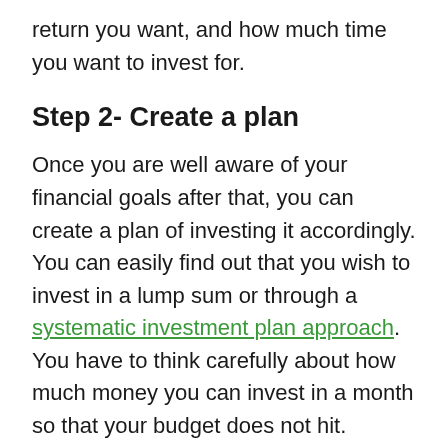return you want, and how much time you want to invest for.
Step 2- Create a plan
Once you are well aware of your financial goals after that, you can create a plan of investing it accordingly. You can easily find out that you wish to invest in a lump sum or through a systematic investment plan approach. You have to think carefully about how much money you can invest in a month so that your budget does not hit.
The first thing that you should remove from your mind is that you need a lot of money to invest, no that is not true. You can even start